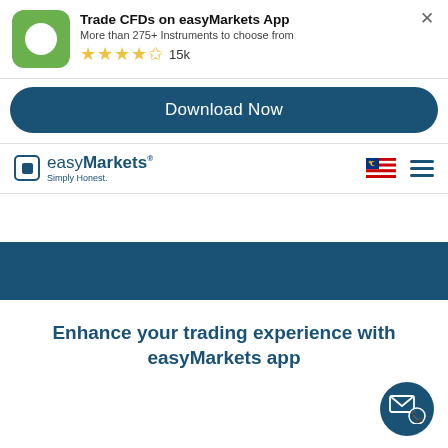[Figure (screenshot): easyMarkets app icon - green rounded square with white circle]
Trade CFDs on easyMarkets App
More than 275+ Instruments to choose from
★★★★☆ 15k
Download Now
[Figure (logo): easyMarkets logo with text 'easyMarkets Simply Honest.' and Malaysian flag and hamburger menu]
[Figure (illustration): Dark blue horizontal band]
Enhance your trading experience with easyMarkets app
[Figure (illustration): Dark blue circular contact button with email and phone icons]